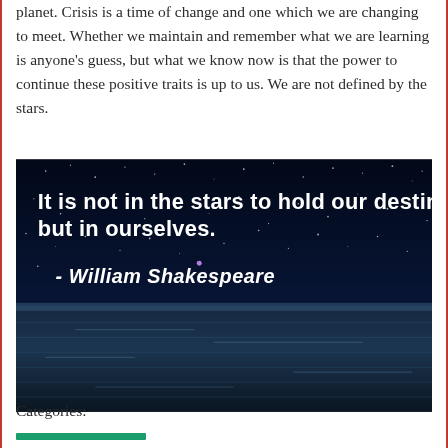planet. Crisis is a time of change and one which we are changing to meet. Whether we maintain and remember what we are learning is anyone's guess, but what we know now is that the power to continue these positive traits is up to us. We are not defined by the stars.
[Figure (photo): Dark night sky with stars over a calm ocean horizon. White bold text overlay reads: 'It is not in the stars to hold our destiny but in ourselves. - William Shakespeare']
Categories: